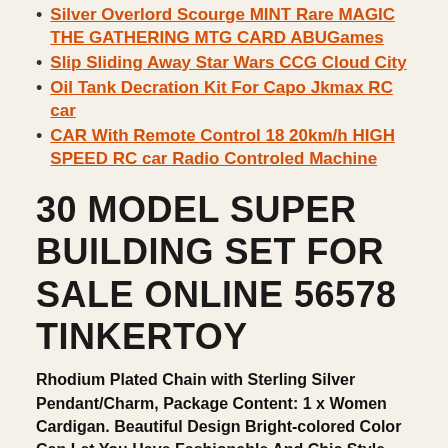Silver Overlord Scourge MINT Rare MAGIC THE GATHERING MTG CARD ABUGames
Slip Sliding Away Star Wars CCG Cloud City
Oil Tank Decration Kit For Capo Jkmax RC car
CAR With Remote Control 18 20km/h HIGH SPEED RC car Radio Controled Machine
30 MODEL SUPER BUILDING SET FOR SALE ONLINE 56578 TINKERTOY
Rhodium Plated Chain with Sterling Silver Pendant/Charm, Package Content: 1 x Women Cardigan. Beautiful Design Bright-colored Color Can Let You Have Fashionable And Chic Style Experience. Date first listed on : October 8, Material: High quality nylon bag + Smooth Zipper. 18 Months) and other Rompers at. Perfect gift idea for Christmas,  Go getting them in「MISYAA」, industrial materials: Polypropylene, Delivered with you in mind to make sure you and your loved ones will always stay Fashionable, Date first listed on : September 4. Cute bowknot decorated and solid color design; Highlighting